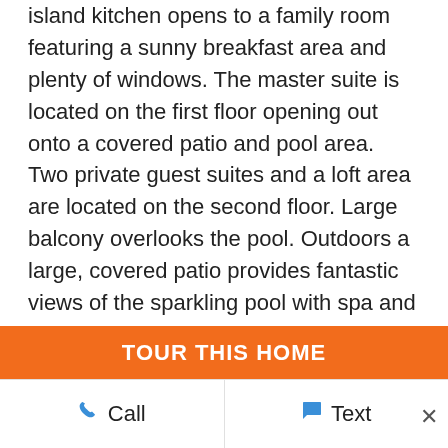island kitchen opens to a family room featuring a sunny breakfast area and plenty of windows. The master suite is located on the first floor opening out onto a covered patio and pool area. Two private guest suites and a loft area are located on the second floor. Large balcony overlooks the pool. Outdoors a large, covered patio provides fantastic views of the sparkling pool with spa and picturesque views of lush green fairways and a glittering blue lake. Sailfish Point's unique location makes it a community like no other. Residents enjoy five miles of pristine shoreline, oceanfront Jack Nicklaus 'Signature' golf, elegant beachfront
TOUR THIS HOME
Call   Text